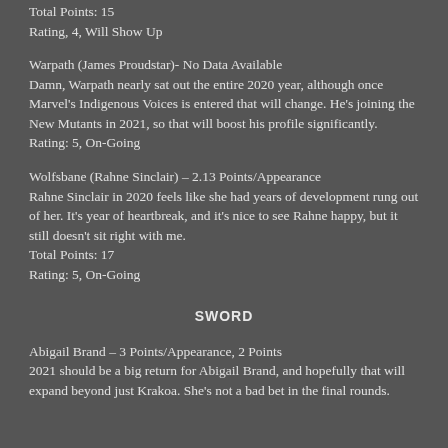Total Points: 15
Rating, 4, Will Show Up
Warpath (James Proudstar)- No Data Available
Damn, Warpath nearly sat out the entire 2020 year, although once Marvel's Indigenous Voices is entered that will change. He's joining the New Mutants in 2021, so that will boost his profile significantly.
Rating: 5, On-Going
Wolfsbane (Rahne Sinclair) – 2.13 Points/Appearance
Rahne Sinclair in 2020 feels like she had years of development rung out of her. It's year of heartbreak, and it's nice to see Rahne happy, but it still doesn't sit right with me.
Total Points: 17
Rating: 5, On-Going
SWORD
Abigail Brand – 3 Points/Appearance, 2 Points
2021 should be a big return for Abigail Brand, and hopefully that will expand beyond just Krakoa. She's not a bad bet in the final rounds.